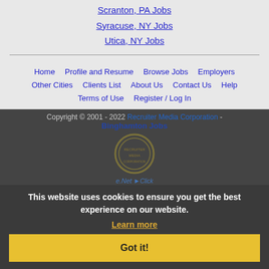Scranton, PA Jobs
Syracuse, NY Jobs
Utica, NY Jobs
Home  Profile and Resume  Browse Jobs  Employers  Other Cities  Clients List  About Us  Contact Us  Help  Terms of Use  Register / Log In
Copyright © 2001 - 2022 Recruiter Media Corporation - Binghamton Jobs
This website uses cookies to ensure you get the best experience on our website.
Learn more
Got it!